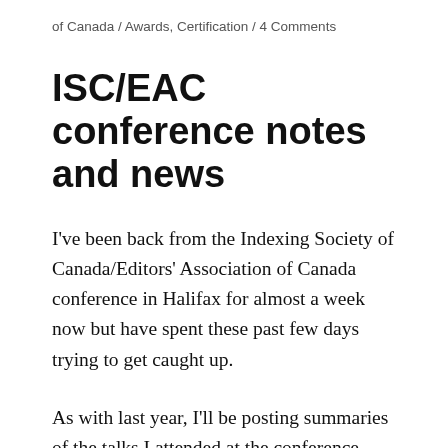of Canada / Awards, Certification / 4 Comments
ISC/EAC conference notes and news
I've been back from the Indexing Society of Canada/Editors' Association of Canada conference in Halifax for almost a week now but have spent these past few days trying to get caught up.
As with last year, I'll be posting summaries of the talks I attended at the conference, but, as I learned last year, they might take me a few weeks to finish; the pockets of time I need to